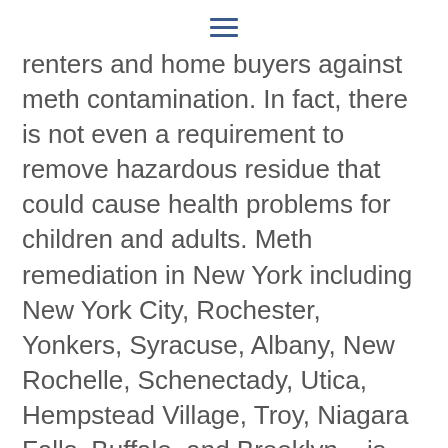≡
renters and home buyers against meth contamination. In fact, there is not even a requirement to remove hazardous residue that could cause health problems for children and adults. Meth remediation in New York including New York City, Rochester, Yonkers, Syracuse, Albany, New Rochelle, Schenectady, Utica, Hempstead Village, Troy, Niagara Falls, Buffalo, and Brooklyn – is left up to the property owners to figure out. Fortunately, there are contractors in New York that are utilizing the effective, environmentally friendly, cost efficient decontamination solution. Apple